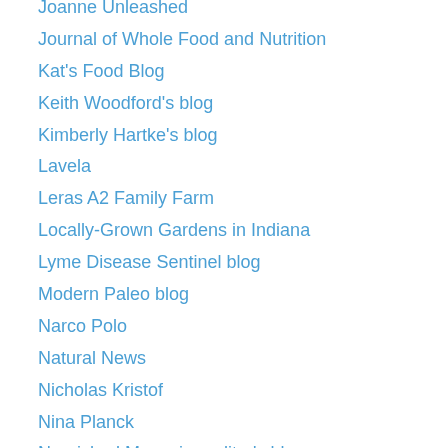Joanne Unleashed
Journal of Whole Food and Nutrition
Kat's Food Blog
Keith Woodford's blog
Kimberly Hartke's blog
Lavela
Leras A2 Family Farm
Locally-Grown Gardens in Indiana
Lyme Disease Sentinel blog
Modern Paleo blog
Narco Polo
Natural News
Nicholas Kristof
Nina Planck
Nourished Magazine editor's blog
Organically Thought
Our Cows
Price Pottenger Nutrition
Puff the Mutant Dragon
Radiation Network